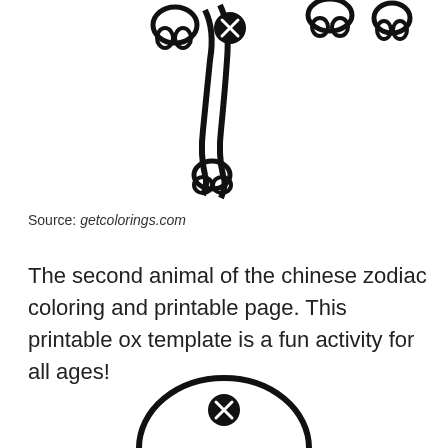[Figure (illustration): Coloring page illustration showing cartoon ox feet/hooves at the top of the page, black outline style with an X symbol]
Source: getcolorings.com
The second animal of the chinese zodiac coloring and printable page. This printable ox template is a fun activity for all ages!
[Figure (illustration): Coloring page illustration showing the top of a cartoon ox head at the bottom of the page, black outline style with an X symbol]